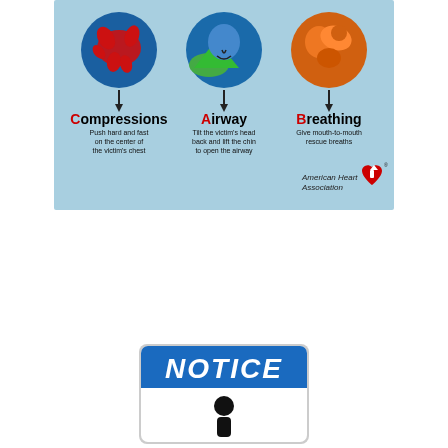[Figure (infographic): American Heart Association CPR infographic showing three steps: Compressions (push hard and fast on the center of the victim's chest), Airway (tilt the victim's head back and lift the chin to open the airway), and Breathing (give mouth-to-mouth rescue breaths). Each step has a colored circle icon above it with an arrow pointing down to the label. The AHA logo appears in the lower right.]
[Figure (infographic): A NOTICE sign with blue header reading NOTICE in bold italic white text, and a person icon below in the white body area.]